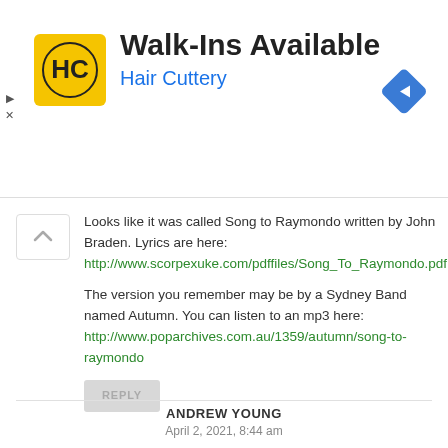[Figure (advertisement): Hair Cuttery ad banner: yellow HC logo icon on left, text 'Walk-Ins Available' in bold dark and 'Hair Cuttery' in blue, navigation diamond icon on right]
Looks like it was called Song to Raymondo written by John Braden. Lyrics are here: http://www.scorpexuke.com/pdffiles/Song_To_Raymondo.pdf

The version you remember may be by a Sydney Band named Autumn. You can listen to an mp3 here: http://www.poparchives.com.au/1359/autumn/song-to-raymondo
REPLY
ANDREW YOUNG
April 2, 2021, 8:44 am